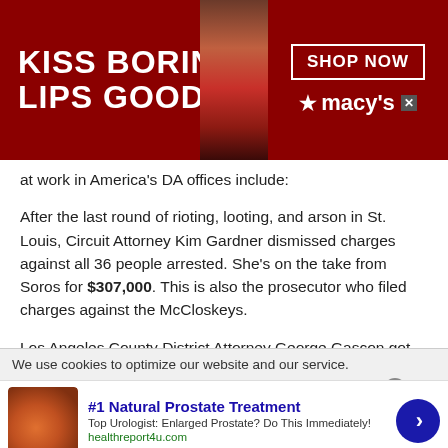[Figure (screenshot): Macy's advertisement banner: dark red background with white text 'KISS BORING LIPS GOODBYE', a woman's face with red lips in the center, and 'SHOP NOW' button with Macy's star logo on the right]
at work in America's DA offices include:
After the last round of rioting, looting, and arson in St. Louis, Circuit Attorney Kim Gardner dismissed charges against all 36 people arrested. She's on the take from Soros for $307,000. This is also the prosecutor who filed charges against the McCloskeys.
Los Angeles County District Attorney George Gascon got over $2 million from the Soros operation, he ended
We use cookies to optimize our website and our service.
[Figure (screenshot): Advertisement for '#1 Natural Prostate Treatment' with an illustration of a prostate gland, subtitle 'Top Urologist: Enlarged Prostate? Do This Immediately!' and URL 'healthreport4u.com', with a blue arrow button on the right]